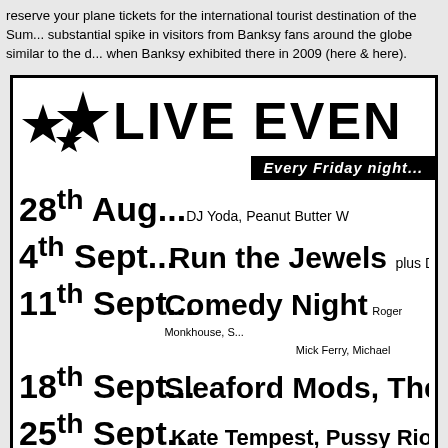reserve your plane tickets for the international tourist destination of the Sum... substantial spike in visitors from Banksy fans around the globe similar to the d... when Banksy exhibited there in 2009 (here & here).
[Figure (infographic): Live events flyer with star icons, heading 'LIVE EVEN...' (Live Events), subtitle 'Every Friday night...', and listings: 28th Aug... DJ Yoda, Peanut Butter W...; 4th Sept... Run the Jewels plus DJ ...; 11th Sept... Comedy Night Roger Monkhouse, S... Mick Ferry, Michael ...; 18th Sept... Sleaford Mods, The Sa...; 25th Sept... Kate Tempest, Pussy Riot, M...; LATE NIGHTS TILL 1AM Plus DJ's every Saturday n...]